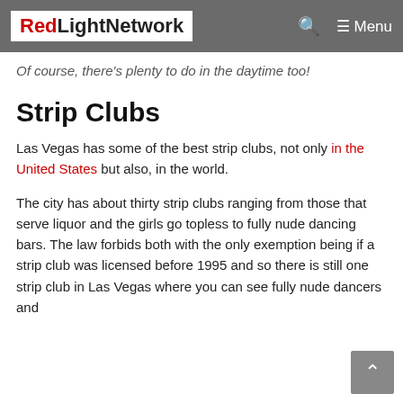RedLightNetwork — Menu
Of course, there's plenty to do in the daytime too!
Strip Clubs
Las Vegas has some of the best strip clubs, not only in the United States but also, in the world.
The city has about thirty strip clubs ranging from those that serve liquor and the girls go topless to fully nude dancing bars. The law forbids both with the only exemption being if a strip club was licensed before 1995 and so there is still one strip club in Las Vegas where you can see fully nude dancers and